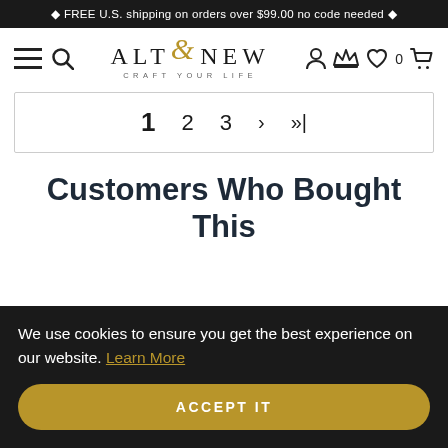🔶 FREE U.S. shipping on orders over $99.00 no code needed 🔶
[Figure (logo): Altenew logo with golden ampersand and tagline CRAFT YOUR LIFE, plus navigation icons (hamburger menu, search, user, crown/rewards, heart wishlist with 0 count, shopping cart)]
1  2  3  >  >|
Customers Who Bought This
We use cookies to ensure you get the best experience on our website. Learn More
ACCEPT IT